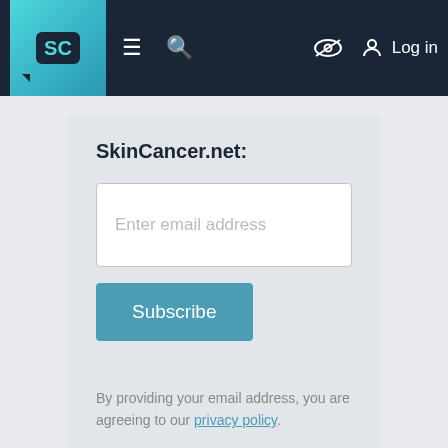SC | menu | search | hide | Log in
SkinCancer.net:
Enter email address
Subscribe
By providing your email address, you are agreeing to our privacy policy.